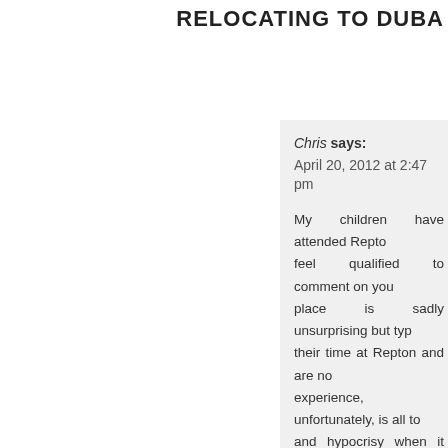RELOCATING TO DUBA
Chris says:
April 20, 2012 at 2:47 pm

My children have attended Repto... feel qualified to comment on you... place is sadly unsurprising but typ... their time at Repton and are no... experience, unfortunately, is all to... and hypocrisy when it comes to w... examples – there are countless ch... a basic conversation in English a... no special needs facility. While t... what certainly did not help was th... and this has finally been address... because he had some Middle E... genuine understanding of the e... adequate intellectual and social... experienced candidate was not ch... professional and mature manage...